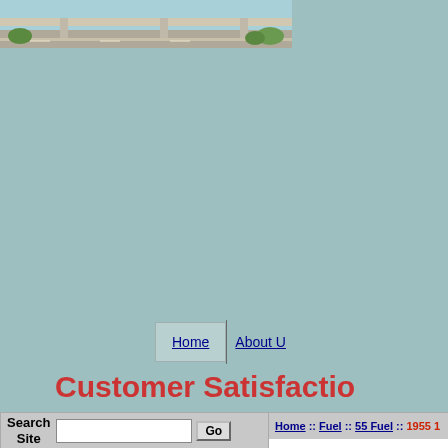[Figure (photo): Highway/bridge photo banner at top of page]
Home :: About U
Customer Satisfactio
Search Site [input] Go
Product Categories
Fuel
55 Fuel
56 Fuel
57 Fuel
Clear Cookies
Home :: Fuel :: 55 Fuel :: 1955 1
1955 1956 1957 6 Cylinder Fuel Pu
Product Overview
Product Overview
Item Number
Price